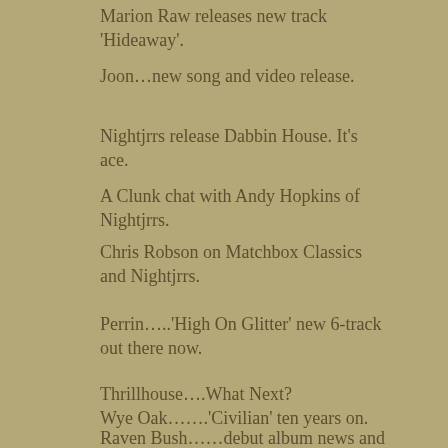Marion Raw releases new track 'Hideaway'.
Joon…new song and video release.
Nightjrrs release Dabbin House. It's ace.
A Clunk chat with Andy Hopkins of Nightjrrs.
Chris Robson on Matchbox Classics and Nightjrrs.
Perrin…..'High On Glitter' new 6-track out there now.
Thrillhouse….What Next?
Wye Oak…….'Civilian' ten years on.
Raven Bush……debut album news and lead